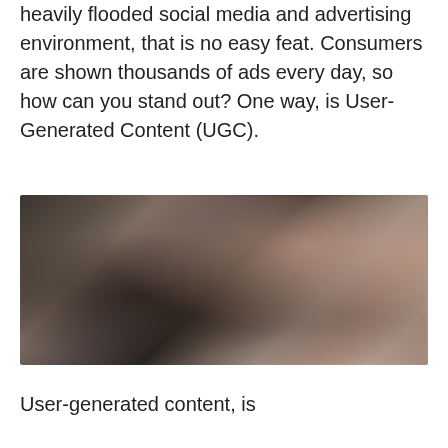heavily flooded social media and advertising environment, that is no easy feat. Consumers are shown thousands of ads every day, so how can you stand out? One way, is User-Generated Content (UGC).
[Figure (photo): Blurred photo of a person using a smartphone or device, dark tones with warm highlights, close-up shot]
User-generated content, is